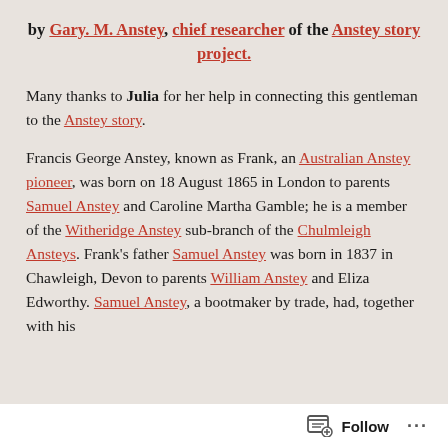by Gary. M. Anstey, chief researcher of the Anstey story project.
Many thanks to Julia for her help in connecting this gentleman to the Anstey story.
Francis George Anstey, known as Frank, an Australian Anstey pioneer, was born on 18 August 1865 in London to parents Samuel Anstey and Caroline Martha Gamble; he is a member of the Witheridge Anstey sub-branch of the Chulmleigh Ansteys. Frank's father Samuel Anstey was born in 1837 in Chawleigh, Devon to parents William Anstey and Eliza Edworthy. Samuel Anstey, a bootmaker by trade, had, together with his
Follow